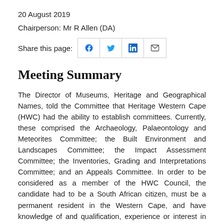20 August 2019
Chairperson: Mr R Allen (DA)
Share this page: [social icons: Facebook, Twitter, LinkedIn, Email]
Meeting Summary
The Director of Museums, Heritage and Geographical Names, told the Committee that Heritage Western Cape (HWC) had the ability to establish committees. Currently, these comprised the Archaeology, Palaeontology and Meteorites Committee; the Built Environment and Landscapes Committee; the Impact Assessment Committee; the Inventories, Grading and Interpretations Committee; and an Appeals Committee. In order to be considered as a member of the HWC Council, the candidate had to be a South African citizen, must be a permanent resident in the Western Cape, and have knowledge of and qualification, experience or interest in subjects related to heritage resources management. The term of office of the current Council would expire on 31 October 2019.
Members asked the Department to explain what was meant by "diverse cultures", as well as the "national character." Was permission was needed from the Department before Spatial